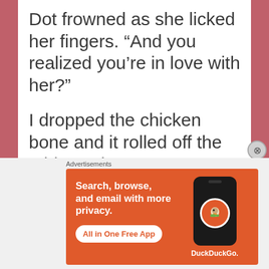Dot frowned as she licked her fingers. “And you realized you’re in love with her?”
I dropped the chicken bone and it rolled off the table. “What?”
Dot shook her head. “Of course not. Never mind.
[Figure (screenshot): DuckDuckGo advertisement banner: orange background with text 'Search, browse, and email with more privacy. All in One Free App' with phone graphic and DuckDuckGo logo]
Advertisements